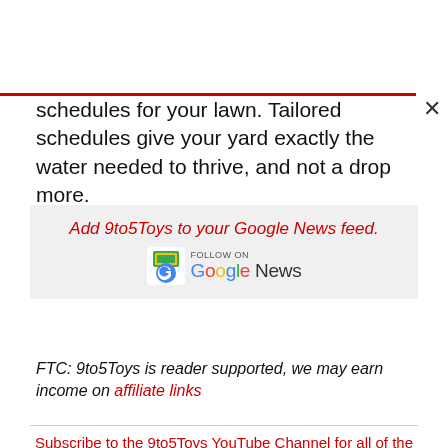schedules for your lawn. Tailored schedules give your yard exactly the water needed to thrive, and not a drop more.
[Figure (other): Google News follow badge with text 'Add 9to5Toys to your Google News feed.' and Google News logo]
FTC: 9to5Toys is reader supported, we may earn income on affiliate links
Subscribe to the 9to5Toys YouTube Channel for all of the latest videos, reviews, and more!
[Figure (screenshot): YouTube video thumbnail showing Jabra Elite 4, NZXT Monitors with dark background]